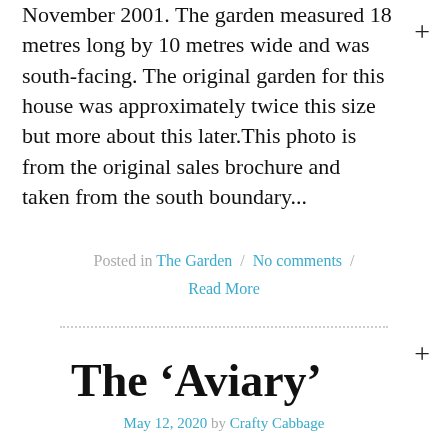November 2001. The garden measured 18 metres long by 10 metres wide and was south-facing. The original garden for this house was approximately twice this size but more about this later.This photo is from the original sales brochure and taken from the south boundary...
Posted in The Garden / No comments / Read More
The 'Aviary'
May 12, 2020 by Crafty Cabbage